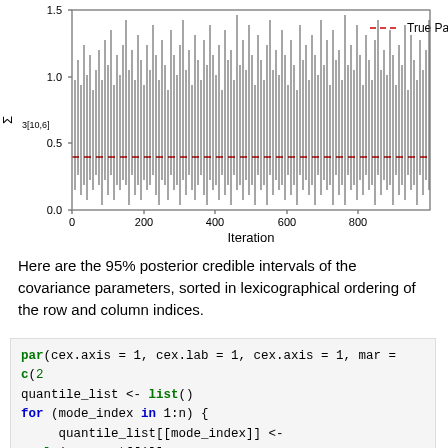[Figure (continuous-plot): MCMC trace plot showing Σ3[10,6] parameter samples vs iteration (0–1000). Dense black vertical lines fluctuate between ~0 and ~1.7, centered around 0.7–0.9. A red dashed horizontal line at approximately y=0.4 represents the True Parameter.]
Here are the 95% posterior credible intervals of the covariance parameters, sorted in lexicographical ordering of the row and column indices.
par(cex.axis = 1, cex.lab = 1, cex.axis = 1, mar = c(2
quantile_list <- list()
for (mode_index in 1:n) {
    quantile_list[[mode_index]] <- apply(cov_post[[1]]:
        probs = c(0.025, 0.5, 0.975))
}